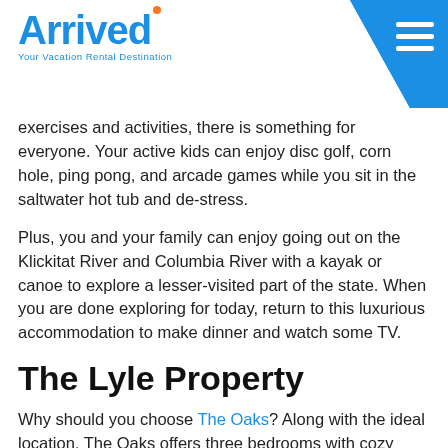Arrived — Your Vacation Rental Destination
exercises and activities, there is something for everyone. Your active kids can enjoy disc golf, corn hole, ping pong, and arcade games while you sit in the saltwater hot tub and de-stress.
Plus, you and your family can enjoy going out on the Klickitat River and Columbia River with a kayak or canoe to explore a lesser-visited part of the state. When you are done exploring for today, return to this luxurious accommodation to make dinner and watch some TV.
The Lyle Property
Why should you choose The Oaks? Along with the ideal location, The Oaks offers three bedrooms with cozy beds, three full bathrooms, and an office on the main floor. This is perfect for remote workers and parents who need to check in with people at the office during vacation.
After making a tasty dinner in the handy...